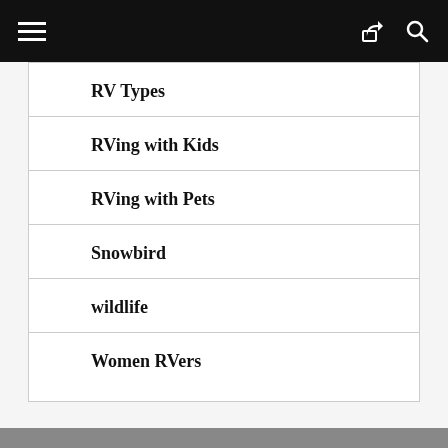RV Types
RVing with Kids
RVing with Pets
Snowbird
wildlife
Women RVers